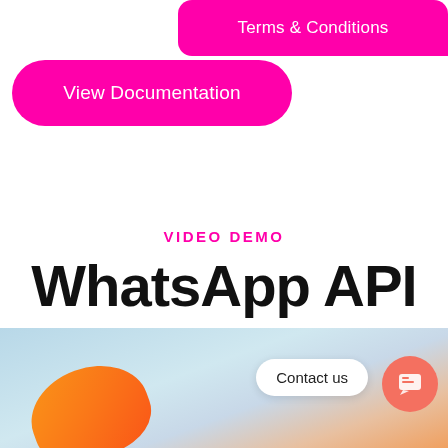Terms & Conditions
View Documentation
VIDEO DEMO
WhatsApp API
[Figure (screenshot): Screenshot area showing a light blue background with an orange shape and a 'Contact us' chat bubble widget with a coral/red circular icon]